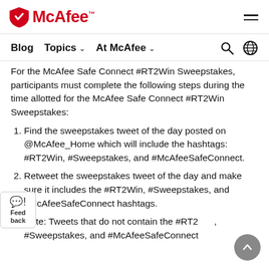McAfee
Blog  Topics  At McAfee
For the McAfee Safe Connect #RT2Win Sweepstakes, participants must complete the following steps during the time allotted for the McAfee Safe Connect #RT2Win Sweepstakes:
Find the sweepstakes tweet of the day posted on @McAfee_Home which will include the hashtags: #RT2Win, #Sweepstakes, and #McAfeeSafeConnect.
Retweet the sweepstakes tweet of the day and make sure it includes the #RT2Win, #Sweepstakes, and #McAfeeSafeConnect hashtags.
Note: Tweets that do not contain the #RT2Win, #Sweepstakes, and #McAfeeSafeConnect